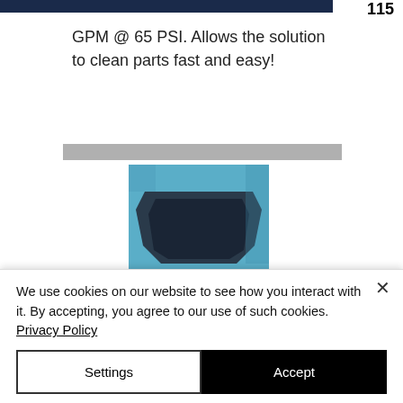[Figure (other): Dark navy blue banner/bar at top of page, partially visible]
115
GPM @ 65 PSI. Allows the solution to clean parts fast and easy!
[Figure (photo): Product photo showing a blue parts washer with a black cut-out opening on top, viewed from above at an angle]
TOP LOAD CUT-OUT
We use cookies on our website to see how you interact with it. By accepting, you agree to our use of such cookies. Privacy Policy
Settings
Accept